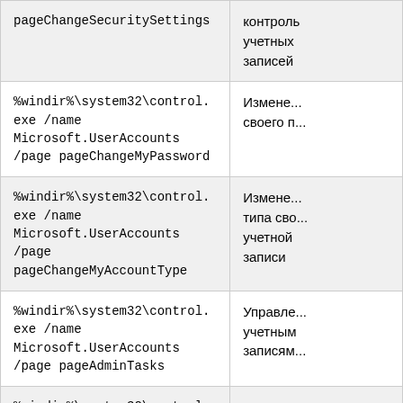| Command | Description |
| --- | --- |
| pageChangeSecuritySettings | контробль учетных записей |
| %windir%\system32\control.exe /name Microsoft.UserAccounts /page pageChangeMyPassword | Измене... своего п... |
| %windir%\system32\control.exe /name Microsoft.UserAccounts /page pageChangeMyAccountType | Измене... типа сво... учетной записи |
| %windir%\system32\control.exe /name Microsoft.UserAccounts /page pageAdminTasks | Управле... учетным записям... |
| %windir%\system32\control.exe /name Microsoft.UserAccounts /page | Включе... учетной... |